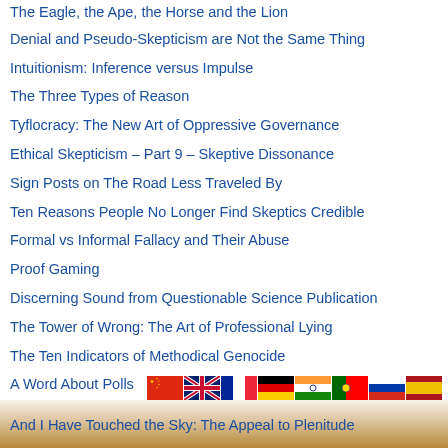The Eagle, the Ape, the Horse and the Lion
Denial and Pseudo-Skepticism are Not the Same Thing
Intuitionism: Inference versus Impulse
The Three Types of Reason
Tyflocracy: The New Art of Oppressive Governance
Ethical Skepticism – Part 9 – Skeptive Dissonance
Sign Posts on The Road Less Traveled By
Ten Reasons People No Longer Find Skeptics Credible
Formal vs Informal Fallacy and Their Abuse
Proof Gaming
Discerning Sound from Questionable Science Publication
The Tower of Wrong: The Art of Professional Lying
The Ten Indicators of Methodical Genocide
A Word About Polls
[Figure (illustration): Row of country flags: China, UK, France, Germany, India, Portugal, Russia, Spain]
And I Have Touched the Sky: The Appeal to Plenitude